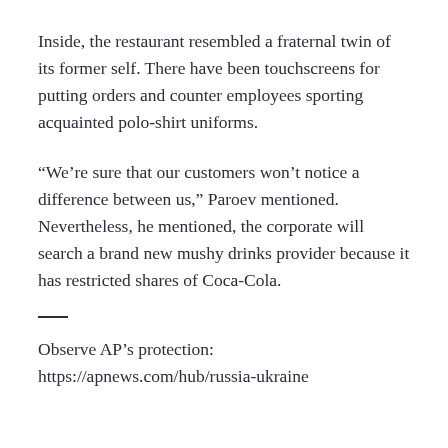Inside, the restaurant resembled a fraternal twin of its former self. There have been touchscreens for putting orders and counter employees sporting acquainted polo-shirt uniforms.
“We’re sure that our customers won’t notice a difference between us,” Paroev mentioned. Nevertheless, he mentioned, the corporate will search a brand new mushy drinks provider because it has restricted shares of Coca-Cola.
Observe AP’s protection:
https://apnews.com/hub/russia-ukraine